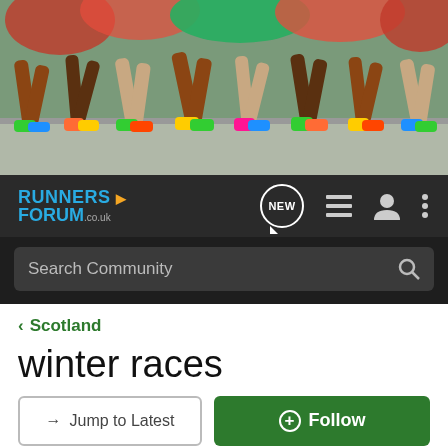[Figure (photo): Banner photo showing runners' legs and feet in colorful sneakers on a road, with foliage in background]
RUNNERS FORUM .co.uk — navigation bar with NEW, list, user, and menu icons, and Search Community search bar
< Scotland
winter races
→ Jump to Latest
+ Follow
1 - 12 of 12 Posts
flakey · Registered
Joined Aug 3, 2006 · 143 Posts